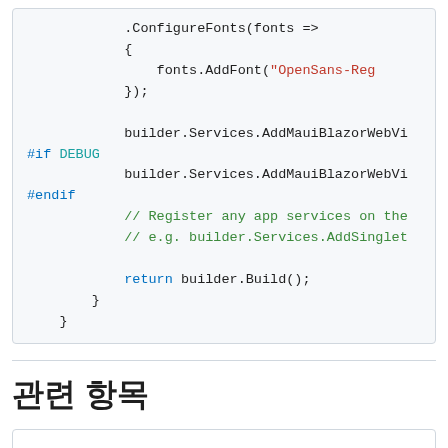[Figure (screenshot): Code block showing C# MAUI app builder configuration with ConfigureFonts, AddMauiBlazorWebView, #if DEBUG, comments for registering services, and return builder.Build();]
관련 항목
□ - .NET MAUI